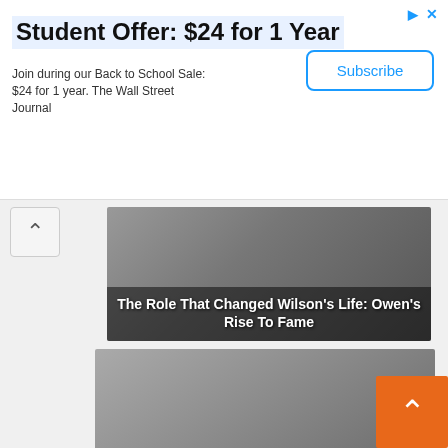[Figure (other): Advertisement banner for Wall Street Journal student offer]
Student Offer: $24 for 1 Year
Join during our Back to School Sale: $24 for 1 year. The Wall Street Journal
[Figure (other): Subscribe button for Wall Street Journal]
[Figure (photo): Photo with overlay text: The Role That Changed Wilson's Life: Owen's Rise To Fame]
The Role That Changed Wilson's Life: Owen's Rise To Fame
[Figure (photo): Photo of muscular young boy lifting dumbbells with overlay text]
Not So Long Ago, A Very Unusual Child Was Born In The USA
[Figure (photo): Partially visible photo at bottom of page]